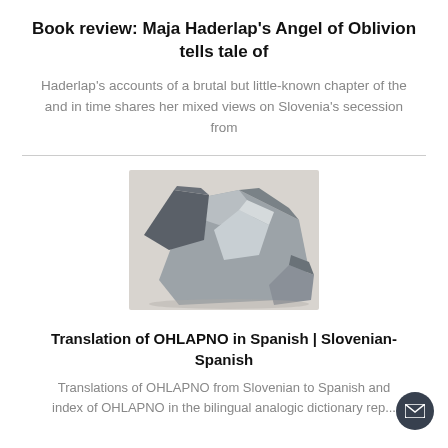Book review: Maja Haderlap's Angel of Oblivion tells tale of
Haderlap's accounts of a brutal but little-known chapter of the and in time shares her mixed views on Slovenia's secession from
[Figure (photo): Photo of grey rocks piled together on a light background]
Translation of OHLAPNO in Spanish | Slovenian-Spanish
Translations of OHLAPNO from Slovenian to Spanish and index of OHLAPNO in the bilingual analogic dictionary rep...